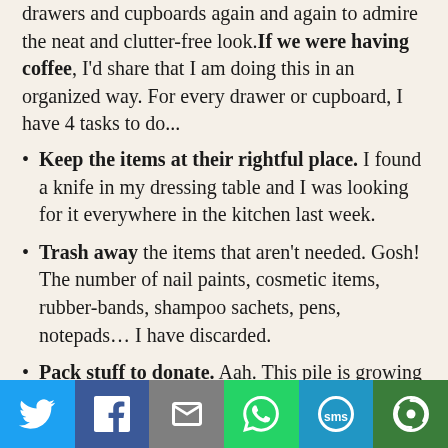drawers and cupboards again and again to admire the neat and clutter-free look. If we were having coffee, I'd share that I am doing this in an organized way. For every drawer or cupboard, I have 4 tasks to do...
Keep the items at their rightful place. I found a knife in my dressing table and I was looking for it everywhere in the kitchen last week.
Trash away the items that aren't needed. Gosh! The number of nail paints, cosmetic items, rubber-bands, shampoo sachets, pens, notepads… I have discarded.
Pack stuff to donate. Aah. This pile is growing in leaps and bounds. While sorting the cupboards, I realized that I have so many
Social share bar: Twitter, Facebook, Email, WhatsApp, SMS, More